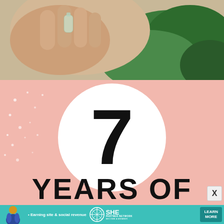[Figure (photo): Close-up photo of a hand holding a small glass bottle/vial with green leafy plants in the background]
[Figure (infographic): Pink background infographic with white circle containing large bold number '7' and text 'YEARS OF' at the bottom in large bold black letters, with white dot decorations scattered on the pink background]
[Figure (infographic): Teal/turquoise advertisement banner for SHE Partner Network showing a person, bullet text 'Earning site & social revenue', the SHE Media logo, and a 'LEARN MORE' button with 'BECOME A MEMBER' text]